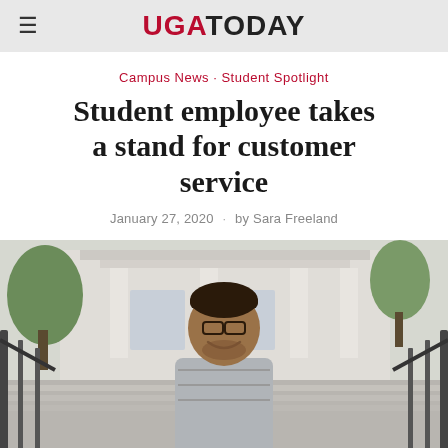UGA TODAY
Campus News · Student Spotlight
Student employee takes a stand for customer service
January 27, 2020 · by Sara Freeland
[Figure (photo): A young man with glasses and a beard smiling, standing on steps outside a building with railings on both sides and trees in the background.]